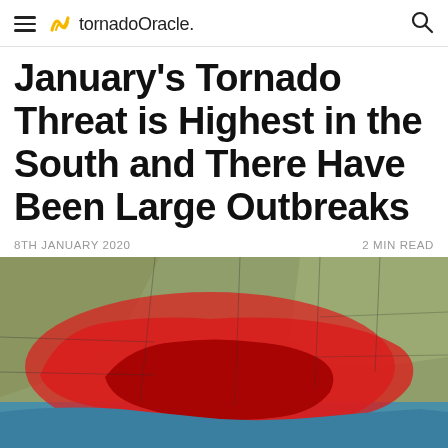tornadoOracle.
January's Tornado Threat is Highest in the South and There Have Been Large Outbreaks
8TH JANUARY 2020   2 MIN READ
[Figure (map): Weather map of the southeastern United States showing tornado threat zones in red and dark red overlaid on a satellite/terrain map. The highest threat area (dark red/maroon) covers the Gulf Coast states including Louisiana, Mississippi, Alabama, and parts of Georgia and Florida. A larger outer red zone extends across the broader South including parts of Texas, Arkansas, Tennessee, and the Carolinas.]